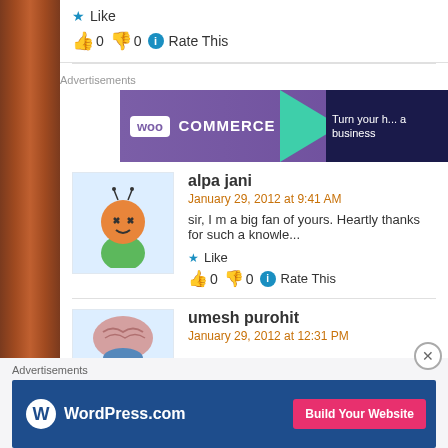Like
👍 0 👎 0 ℹ Rate This
Advertisements
[Figure (screenshot): WooCommerce advertisement banner: purple background with WooCommerce logo and text 'Turn your h... a business']
alpa jani
January 29, 2012 at 9:41 AM
sir, I m a big fan of yours. Heartly thanks for such a knowle...
Like
👍 0 👎 0 ℹ Rate This
umesh purohit
January 29, 2012 at 12:31 PM
Advertisements
[Figure (screenshot): WordPress.com advertisement banner: blue background with WordPress logo and 'Build Your Website' pink button]